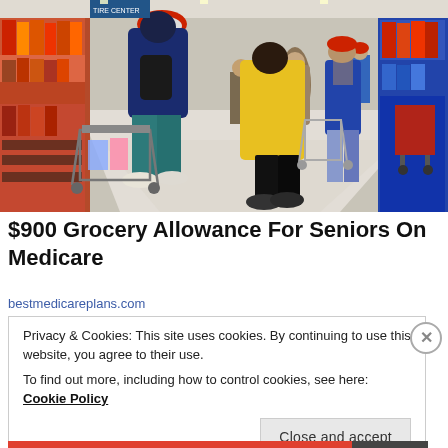[Figure (photo): Shoppers pushing grocery carts down the aisle of a large retail/grocery store. Several elderly people visible, one wearing a red hat and blue jacket, another in a yellow coat. Store shelves stocked with products visible on both sides.]
$900 Grocery Allowance For Seniors On Medicare
bestmedicareplans.com
Privacy & Cookies: This site uses cookies. By continuing to use this website, you agree to their use.
To find out more, including how to control cookies, see here: Cookie Policy
Close and accept